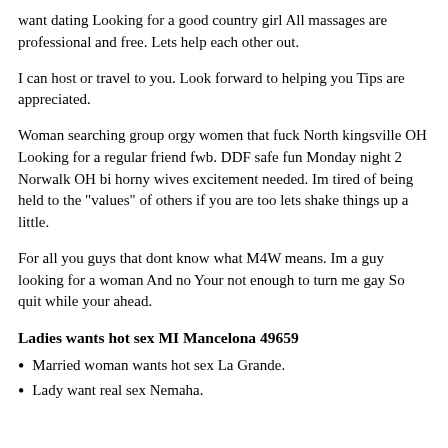want dating Looking for a good country girl All massages are professional and free. Lets help each other out.
I can host or travel to you. Look forward to helping you Tips are appreciated.
Woman searching group orgy women that fuck North kingsville OH Looking for a regular friend fwb. DDF safe fun Monday night 2 Norwalk OH bi horny wives excitement needed. Im tired of being held to the "values" of others if you are too lets shake things up a little.
For all you guys that dont know what M4W means. Im a guy looking for a woman And no Your not enough to turn me gay So quit while your ahead.
Ladies wants hot sex MI Mancelona 49659
Married woman wants hot sex La Grande.
Lady want real sex Nemaha.